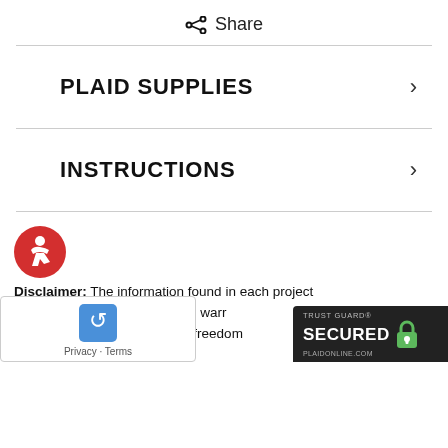< Share
PLAID SUPPLIES
INSTRUCTIONS
[Figure (logo): Red accessibility (wheelchair) icon]
Disclaimer: The information found in each project presented in good faith, but no warranty, nor results guaranteed, nor is freedom
[Figure (logo): reCAPTCHA Privacy - Terms box]
[Figure (logo): Trust Guard Secured badge - PLAIDONLINE.COM]